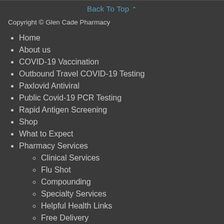Back To Top
Copyright © Glen Cade Pharmacy
Home
About us
COVID-19 Vaccination
Outbound Travel COVID-19 Testing
Paxlovid Antiviral
Public Covid-19 PCR Testing
Rapid Antigen Screening
Shop
What to Expect
Pharmacy Services
Clinical Services
Flu Shot
Compounding
Specialty Services
Helpful Health Links
Free Delivery